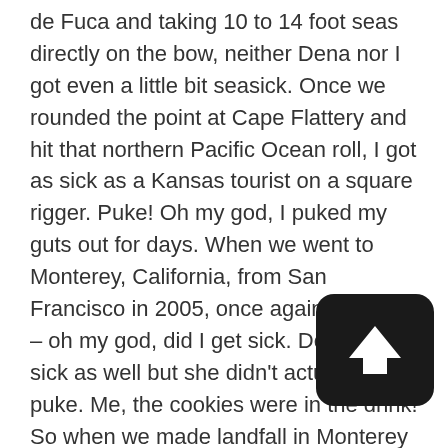de Fuca and taking 10 to 14 foot seas directly on the bow, neither Dena nor I got even a little bit seasick. Once we rounded the point at Cape Flattery and hit that northern Pacific Ocean roll, I got as sick as a Kansas tourist on a square rigger. Puke! Oh my god, I puked my guts out for days. When we went to Monterey, California, from San Francisco in 2005, once again I got sick – oh my god, did I get sick. Dena got sick as well but she didn't actually puke. Me, the cookies were in the drink! So when we made landfall in Monterey that year, we went straight to the drug store and bought a 100 count of the generic version of Dramamine, Meclizine, and life instantly got so much better.
For people who are planning a future big offshore adventure, I'd say Meclizine was just as important as say, first aid bandages.
Twenty-four hours before we went west through the
[Figure (other): Dark rounded square button with an upward-pointing white arrow icon]